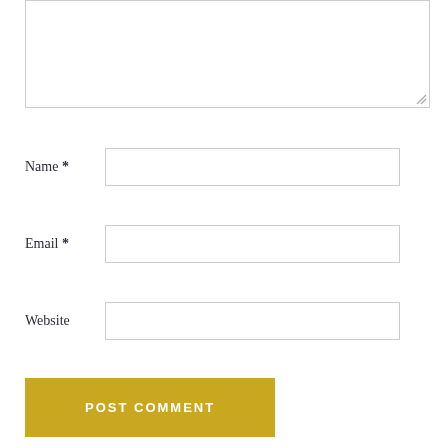[Figure (screenshot): A textarea input field (comment box) at the top, partially cropped, with a resize handle in the bottom-right corner.]
Name *
Email *
Website
POST COMMENT